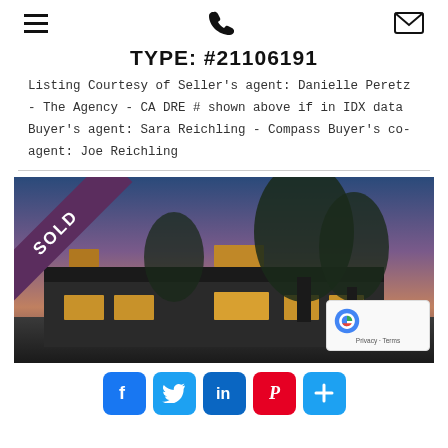[hamburger menu] [phone icon] [envelope icon]
TYPE: #21106191
Listing Courtesy of Seller's agent: Danielle Peretz - The Agency - CA DRE # shown above if in IDX data Buyer's agent: Sara Reichling - Compass Buyer's co-agent: Joe Reichling
[Figure (photo): Exterior photo of a luxury modern home at dusk with purple-pink sky, large trees, and illuminated interior. A diagonal purple 'SOLD' banner is overlaid on the upper-left corner. A reCAPTCHA widget appears in the lower-right corner.]
[Figure (other): Social sharing buttons row: Facebook (blue), Twitter (light blue), LinkedIn (dark blue), Pinterest (red), and a plus/share button (light blue)]